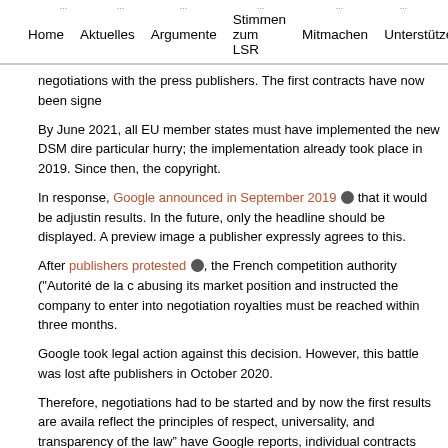Home  Aktuelles  Argumente  Stimmen zum LSR  Mitmachen  Unterstütze
negotiations with the press publishers. The first contracts have now been signe
By June 2021, all EU member states must have implemented the new DSM dire particular hurry; the implementation already took place in 2019. Since then, the copyright.
In response, Google announced in September 2019 [link] that it would be adjustin results. In the future, only the headline should be displayed. A preview image a publisher expressly agrees to this.
After publishers protested [link], the French competition authority ("Autorité de la c abusing its market position and instructed the company to enter into negotiation royalties must be reached within three months.
Google took legal action against this decision. However, this battle was lost afte publishers in October 2020.
Therefore, negotiations had to be started and by now the first results are availa reflect the principles of respect, universality, and transparency of the law" have Google reports, individual contracts have already been concluded with the first universality, and transparency of the law". The signatories include Le Monde, L International and L'Obs.